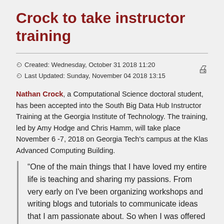Crock to take instructor training
Created: Wednesday, October 31 2018 11:20
Last Updated: Sunday, November 04 2018 13:15
Nathan Crock, a Computational Science doctoral student, has been accepted into the South Big Data Hub Instructor Training at the Georgia Institute of Technology. The training, led by Amy Hodge and Chris Hamm, will take place November 6 -7, 2018 on Georgia Tech's campus at the Klas Advanced Computing Building.
“One of the main things that I have loved my entire life is teaching and sharing my passions. From very early on I've been organizing workshops and writing blogs and tutorials to communicate ideas that I am passionate about. So when I was offered this opportunity to improve my teaching and communication skills, I eagerly accepted,”
Nathan Crock